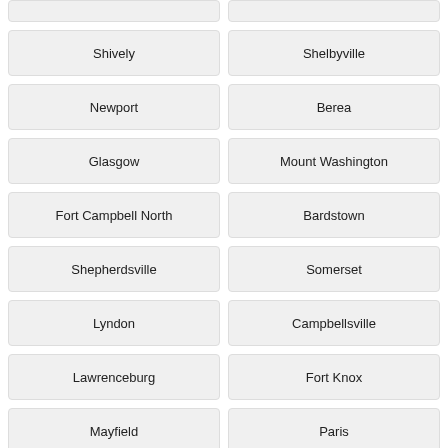Shively
Shelbyville
Newport
Berea
Glasgow
Mount Washington
Fort Campbell North
Bardstown
Shepherdsville
Somerset
Lyndon
Campbellsville
Lawrenceburg
Fort Knox
Mayfield
Paris
Middlesborough
Versailles